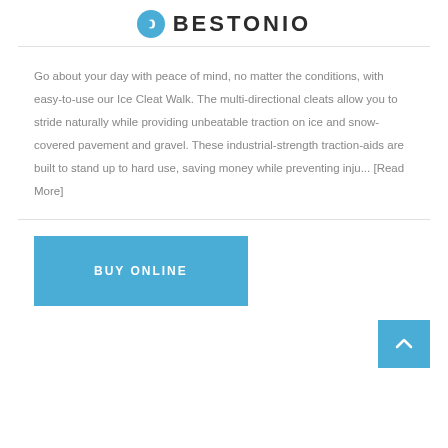BESTONIO
Go about your day with peace of mind, no matter the conditions, with easy-to-use our Ice Cleat Walk. The multi-directional cleats allow you to stride naturally while providing unbeatable traction on ice and snow-covered pavement and gravel. These industrial-strength traction-aids are built to stand up to hard use, saving money while preventing inju... [Read More]
BUY ONLINE